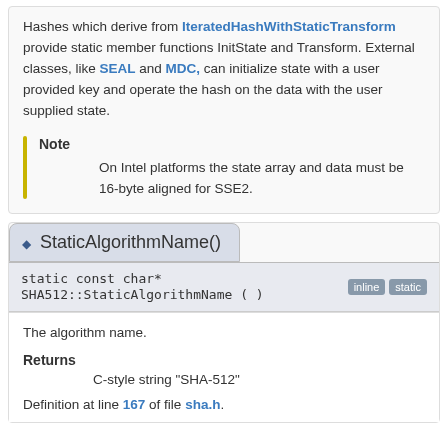Hashes which derive from IteratedHashWithStaticTransform provide static member functions InitState and Transform. External classes, like SEAL and MDC, can initialize state with a user provided key and operate the hash on the data with the user supplied state.
Note
On Intel platforms the state array and data must be 16-byte aligned for SSE2.
◆ StaticAlgorithmName()
static const char* SHA512::StaticAlgorithmName ( )  [inline] [static]
The algorithm name.
Returns
    C-style string "SHA-512"
Definition at line 167 of file sha.h.